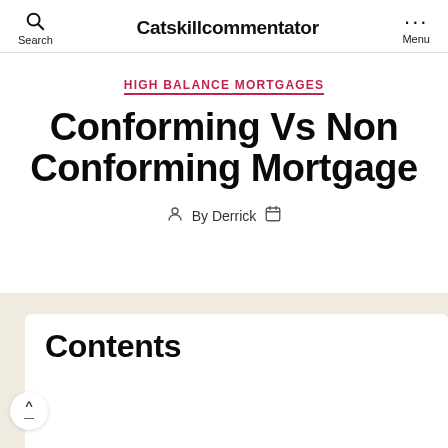Catskillcommentator
HIGH BALANCE MORTGAGES
Conforming Vs Non Conforming Mortgage
By Derrick
Contents